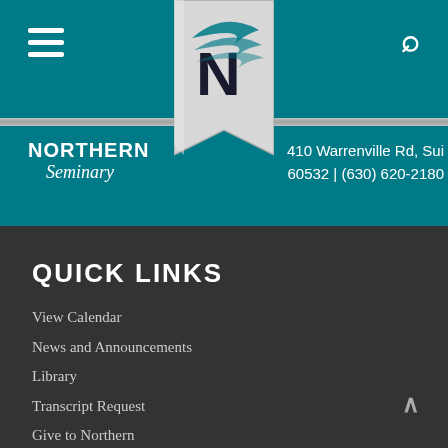[Figure (logo): Northern Seminary logo with stylized N and teal wing mark on ribbon banner]
NORTHERN Seminary
410 Warrenville Rd, Sui 60532 | (630) 620-2180
QUICK LINKS
View Calendar
News and Announcements
Library
Transcript Request
Give to Northern
Northern's Blog
Faculty and Staff Directory